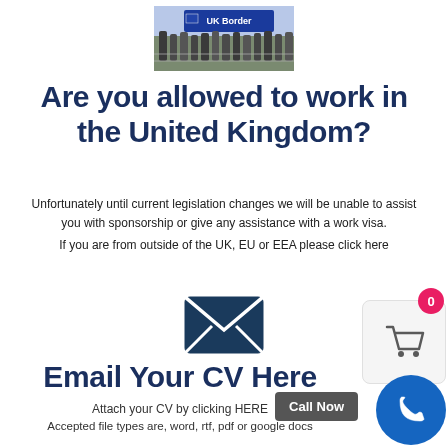[Figure (photo): Photo of UK Border control area at an airport with a blue 'UK Border' sign and queue of travelers]
Are you allowed to work in the United Kingdom?
Unfortunately until current legislation changes we will be unable to assist you with sponsorship or give any assistance with a work visa.
If you are from outside of the UK, EU or EEA please click here
[Figure (illustration): Dark blue envelope / email icon]
Email Your CV Here
Attach your CV by clicking HERE
Accepted file types are, word, rtf, pdf or google docs